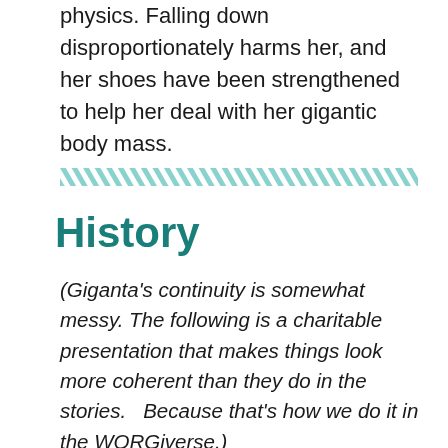physics. Falling down disproportionately harms her, and her shoes have been strengthened to help her deal with her gigantic body mass.
[Figure (other): Teal diagonal hatching divider stripe]
History
(Giganta's continuity is somewhat messy. The following is a charitable presentation that makes things look more coherent than they do in the stories. Because that's how we do it in the WORGiverse.)